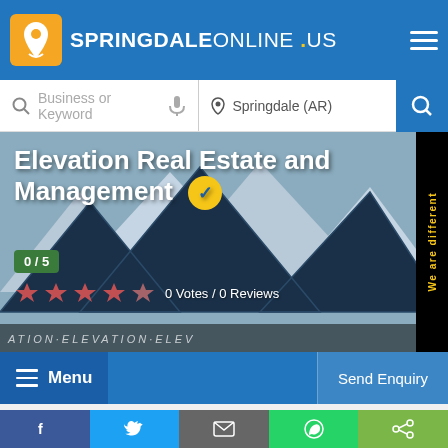SPRINGDALEONLINE.US — site header with logo and hamburger menu
Business or Keyword | Springdale (AR)
Elevation Real Estate and Management
0 / 5
0 Votes / 0 Reviews
We are different
Menu
Send Enquiry
Social share buttons: Facebook, Twitter, Email, WhatsApp, Share